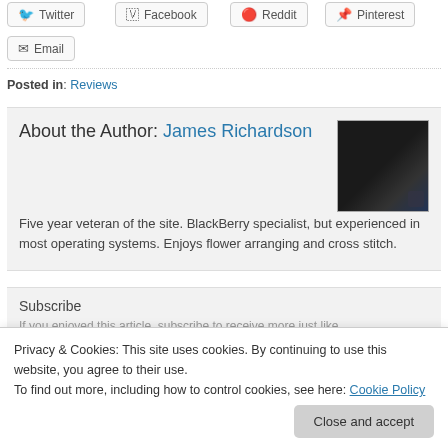Twitter
Facebook
Reddit
Pinterest
Email
Posted in: Reviews
About the Author: James Richardson
Five year veteran of the site. BlackBerry specialist, but experienced in most operating systems. Enjoys flower arranging and cross stitch.
Subscribe
If you enjoyed this article, subscribe to receive more just like
Privacy & Cookies: This site uses cookies. By continuing to use this website, you agree to their use.
To find out more, including how to control cookies, see here: Cookie Policy